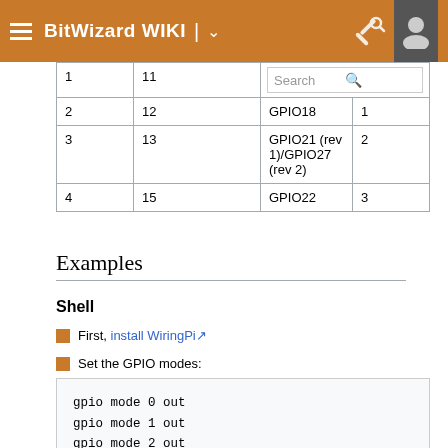BitWizard WIKI
|  |  |  |  |
| --- | --- | --- | --- |
| 1 | 11 | Search |  |
| 2 | 12 | GPIO18 | 1 |
| 3 | 13 | GPIO21 (rev 1)/GPIO27 (rev 2) | 2 |
| 4 | 15 | GPIO22 | 3 |
Examples
Shell
First, install WiringPi
Set the GPIO modes:
gpio mode 0 out
gpio mode 1 out
gpio mode 2 out
gpio mode 3 out